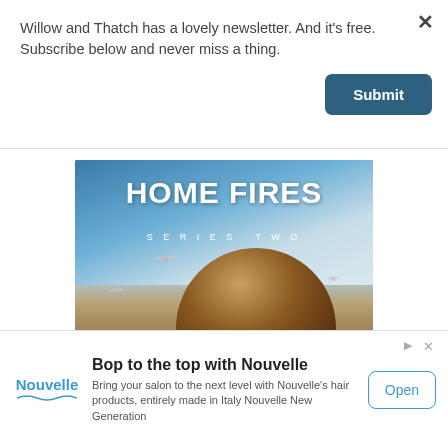Willow and Thatch has a lovely newsletter. And it's free. Subscribe below and never miss a thing.
[Figure (screenshot): Blue Submit button]
[Figure (photo): Home Fires Series Two promotional image showing a person with curly hair against a sky with planes]
[Figure (screenshot): Scroll down chevron indicator button]
[Figure (other): Advertisement banner: Bop to the top with Nouvelle. Nouvelle logo, text about salon hair products made in Italy. Open button.]